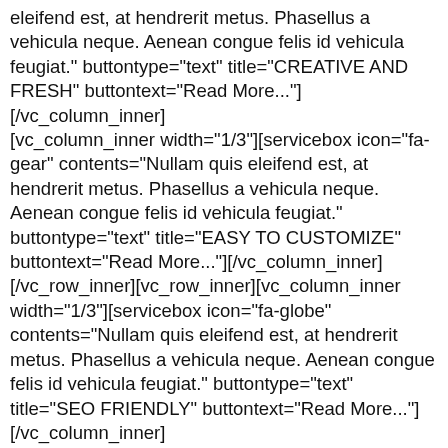eleifend est, at hendrerit metus. Phasellus a vehicula neque. Aenean congue felis id vehicula feugiat." buttontype="text" title="CREATIVE AND FRESH" buttontext="Read More..."][/vc_column_inner][vc_column_inner width="1/3"][servicebox icon="fa-gear" contents="Nullam quis eleifend est, at hendrerit metus. Phasellus a vehicula neque. Aenean congue felis id vehicula feugiat." buttontype="text" title="EASY TO CUSTOMIZE" buttontext="Read More..."][/vc_column_inner][/vc_row_inner][vc_row_inner][vc_column_inner width="1/3"][servicebox icon="fa-globe" contents="Nullam quis eleifend est, at hendrerit metus. Phasellus a vehicula neque. Aenean congue felis id vehicula feugiat." buttontype="text" title="SEO FRIENDLY" buttontext="Read More..."][/vc_column_inner][vc_column_inner width="1/3"][servicebox icon="fa-location-arrow" contents="Nullam quis eleifend est, at hendrerit metus. Phasellus a vehicula neque. Aenean congue felis id vehicula feugiat." buttontype="text" title="GREAT SUPPORT" buttontext="Read More..."][/vc_column_inner][vc_column_inner width="1/3"][servicebox icon="fa-tablet" contents="Nullam quis eleifend est, at hendrerit metus. Phasellus a vehicula neque. Aenean congue felis id